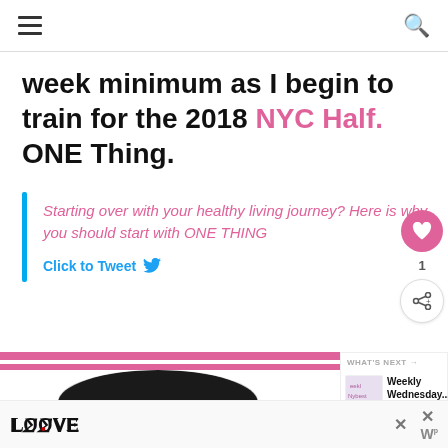Navigation bar with hamburger menu and search icon
week minimum as I begin to train for the 2018 NYC Half. ONE Thing.
Starting over with your healthy living journey? Here is why you should start with ONE THING
Click to Tweet
[Figure (photo): Photo of a person with dark hair, with pink banner strips across the top]
WHAT'S NEXT → Weekly Wednesday...
[Figure (logo): LOOVE stylized logo advertisement at bottom of page with close X buttons]